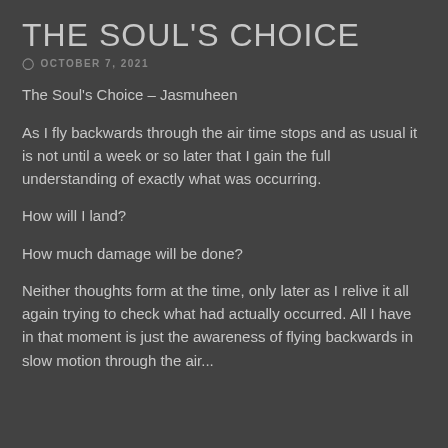THE SOUL'S CHOICE
OCTOBER 7, 2021
The Soul's Choice – Jasmuheen
As I fly backwards through the air time stops and as usual it is not until a week or so later that I gain the full understanding of exactly what was occurring.
How will I land?
How much damage will be done?
Neither thoughts form at the time, only later as I relive it all again trying to check what had actually occurred. All I have in that moment is just the awareness of flying backwards in slow motion through the air...